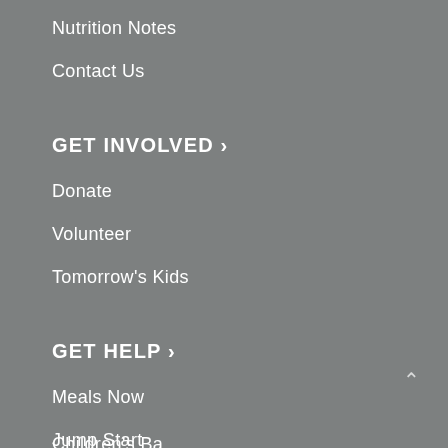Nutrition Notes
Contact Us
GET INVOLVED ›
Donate
Volunteer
Tomorrow's Kids
GET HELP ›
Meals Now
Jump Start
FORK Cares
Formula Support
Children's Ba…